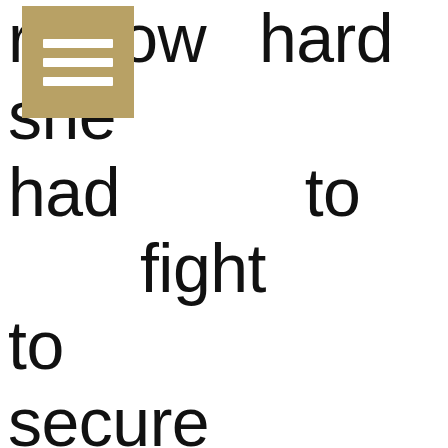[Figure (logo): Gold/tan square icon with three horizontal white lines (hamburger menu style icon)]
r how hard she had to fight to secure this vineyard, then known as Château Haut Villet, and it is easy to see why. Firstly, you notice